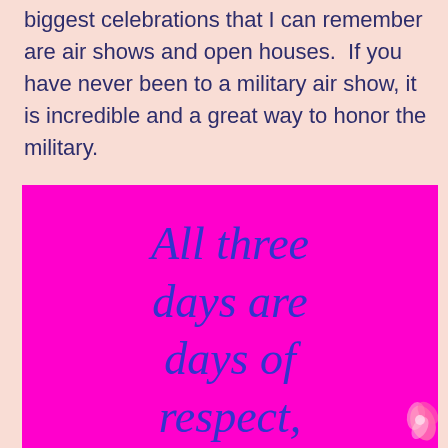biggest celebrations that I can remember are air shows and open houses.  If you have never been to a military air show, it is incredible and a great way to honor the military.
[Figure (infographic): Magenta/hot-pink box containing italic cursive text in dark blue reading 'All three days are days of respect,' on a bright magenta background, with a small floral decoration at the bottom right corner.]